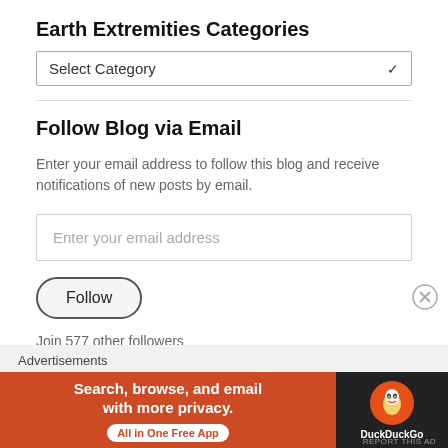Earth Extremities Categories
[Figure (screenshot): Dropdown select box labeled 'Select Category' with a chevron arrow]
Follow Blog via Email
Enter your email address to follow this blog and receive notifications of new posts by email.
[Figure (screenshot): Email input field with placeholder 'Enter your email address']
[Figure (screenshot): Follow button, rounded pill shape]
Join 577 other followers
Advertisements
[Figure (screenshot): DuckDuckGo advertisement banner: 'Search, browse, and email with more privacy. All in One Free App' with DuckDuckGo logo on dark background]